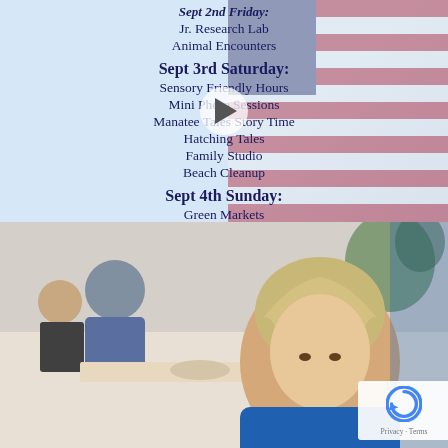[Figure (infographic): Event schedule flyer with American flag background (partially visible). Lists activities for Sept 2nd Friday (Jr. Research Lab, Animal Encounters), Sept 3rd Saturday (Sensory Friendly Hours, Mini Photo Sessions, Manatee Tales Story Time, Hatching Tales, Family Studio, Beach Cleanup), Sept 4th Sunday (Green Markets, Aquarium Feedings). Footer: Details and more: ThePBMoms.com. A video play button overlay is visible.]
[Figure (photo): Photo of a young blonde girl in a blue top sitting at a restaurant table, with adults dining in the background. A reCAPTCHA badge appears in the bottom-right corner.]